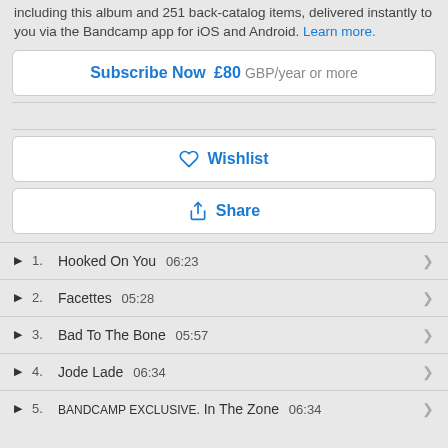including this album and 251 back-catalog items, delivered instantly to you via the Bandcamp app for iOS and Android. Learn more.
Subscribe Now £80 GBP/year or more
Wishlist
Share
1. Hooked On You 06:23
2. Facettes 05:28
3. Bad To The Bone 05:57
4. Jode Lade 06:34
5. BANDCAMP EXCLUSIVE. In The Zone 06:34